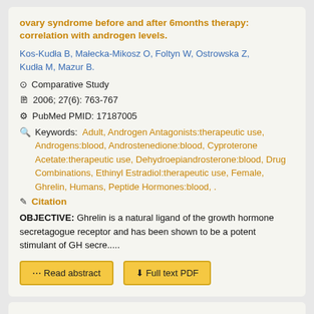ovary syndrome before and after 6months therapy: correlation with androgen levels.
Kos-Kudła B, Małecka-Mikosz O, Foltyn W, Ostrowska Z, Kudła M, Mazur B.
⊙ Comparative Study
2006; 27(6): 763-767
PubMed PMID: 17187005
Keywords: Adult, Androgen Antagonists:therapeutic use, Androgens:blood, Androstenedione:blood, Cyproterone Acetate:therapeutic use, Dehydroepiandrosterone:blood, Drug Combinations, Ethinyl Estradiol:therapeutic use, Female, Ghrelin, Humans, Peptide Hormones:blood, .
Citation
OBJECTIVE: Ghrelin is a natural ligand of the growth hormone secretagogue receptor and has been shown to be a potent stimulant of GH secre.....